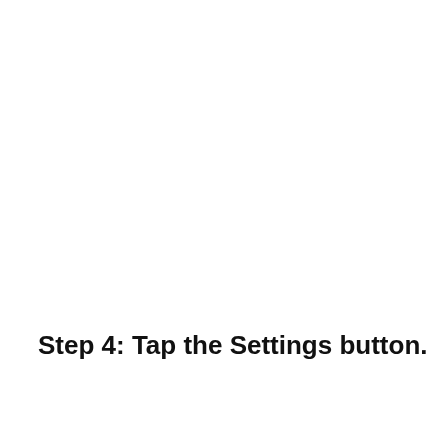Step 4: Tap the Settings button.